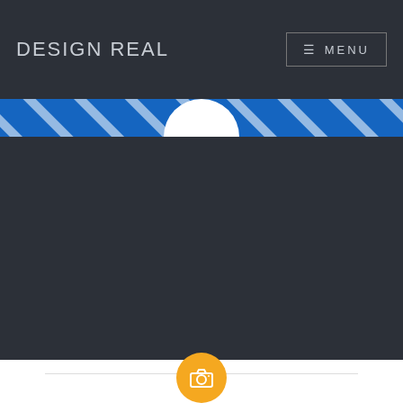DESIGN REAL
MENU
[Figure (screenshot): Website screenshot showing DESIGN REAL header with dark background, blue banner strip with diagonal white stripes, a white circular logo partially visible, and a dark content area below. At the bottom is a white section with a horizontal divider line and an orange/yellow camera icon circle.]